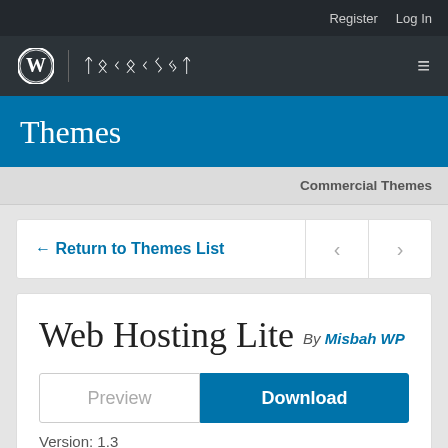Register  Log In
ꟿ | ᛏᛟᚲᛟᚲᛊᛃᛏ
Themes
Commercial Themes
← Return to Themes List
Web Hosting Lite By Misbah WP
Preview
Download
Version: 1.3